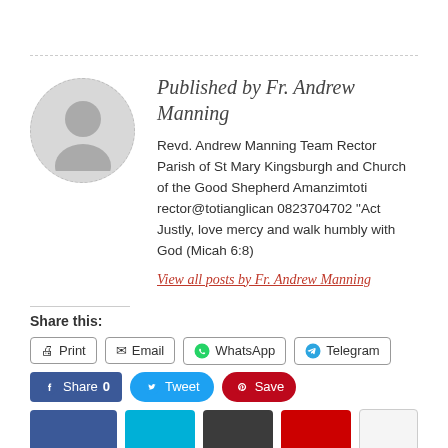Published by Fr. Andrew Manning
Revd. Andrew Manning Team Rector Parish of St Mary Kingsburgh and Church of the Good Shepherd Amanzimtoti rector@totianglican 0823704702 "Act Justly, love mercy and walk humbly with God (Micah 6:8)
View all posts by Fr. Andrew Manning
Share this:
Print | Email | WhatsApp | Telegram
Share 0 | Tweet | Save